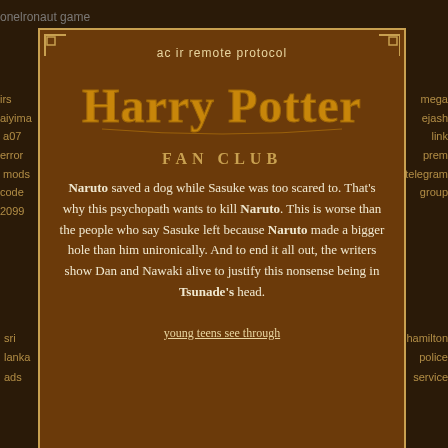onelronaut game
ac ir remote protocol
[Figure (illustration): Harry Potter Fan Club logo with stylized golden Harry Potter text and FAN CLUB subtitle on brown background with decorative border]
Naruto saved a dog while Sasuke was too scared to. That's why this psychopath wants to kill Naruto. This is worse than the people who say Sasuke left because Naruto made a bigger hole than him unironically. And to end it all out, the writers show Dan and Nawaki alive to justify this nonsense being in Tsunade's head.
young teens see through
aiyima
irs
a07
error
mods
code
2099
mega
ejash
link
prem
telegram
group
sri
lanka
ads
kyaw gyi vk
hamilton
police
service